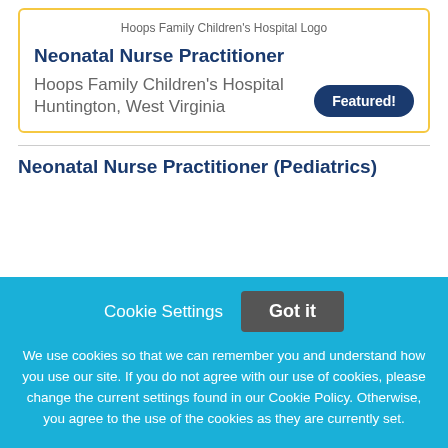[Figure (logo): Hoops Family Children's Hospital Logo]
Neonatal Nurse Practitioner
Hoops Family Children's Hospital
Huntington, West Virginia
Featured!
Neonatal Nurse Practitioner (Pediatrics)
Cookie Settings
Got it
We use cookies so that we can remember you and understand how you use our site. If you do not agree with our use of cookies, please change the current settings found in our Cookie Policy. Otherwise, you agree to the use of the cookies as they are currently set.